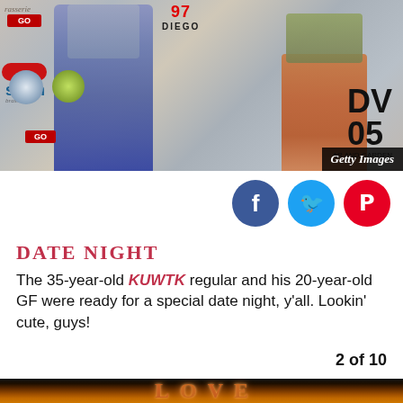[Figure (photo): Two people standing in front of a branded photo backdrop with logos including '97' and 'DV 05'. The person on the left wears blue jeans, the person on the right wears a short dress. Getty Images watermark in bottom-right corner.]
DATE NIGHT
The 35-year-old KUWTK regular and his 20-year-old GF were ready for a special date night, y'all. Lookin' cute, guys!
2 of 10
[Figure (photo): Bottom portion of image showing illuminated 'LOVE' marquee letters in orange/gold against a dark background.]